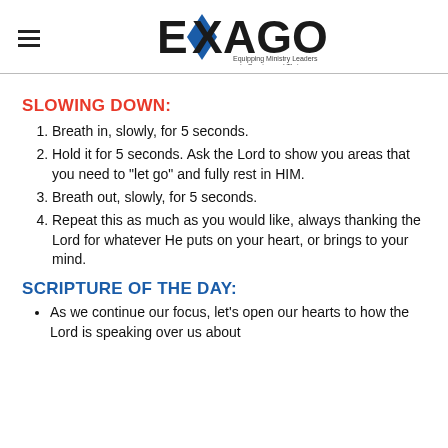EXAGO — Equipping Ministry Leaders to Survive and Thrive
SLOWING DOWN:
Breath in, slowly, for 5 seconds.
Hold it for 5 seconds. Ask the Lord to show you areas that you need to "let go" and fully rest in HIM.
Breath out, slowly, for 5 seconds.
Repeat this as much as you would like, always thanking the Lord for whatever He puts on your heart, or brings to your mind.
SCRIPTURE OF THE DAY:
As we continue our focus, let's open our hearts to how the Lord is speaking over us about